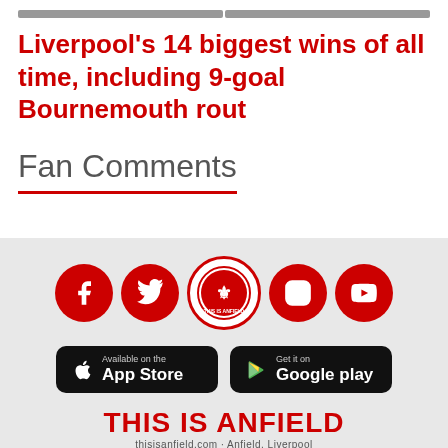Liverpool's 14 biggest wins of all time, including 9-goal Bournemouth rout
Fan Comments
[Figure (infographic): Footer section with social media icons (Facebook, Twitter, This Is Anfield logo, Instagram, YouTube), App Store and Google Play download buttons, and THIS IS ANFIELD branding text on a light grey background.]